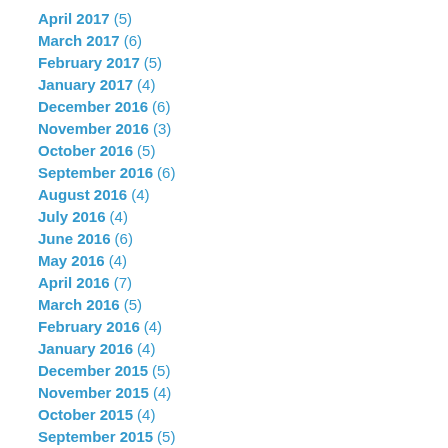April 2017 (5)
March 2017 (6)
February 2017 (5)
January 2017 (4)
December 2016 (6)
November 2016 (3)
October 2016 (5)
September 2016 (6)
August 2016 (4)
July 2016 (4)
June 2016 (6)
May 2016 (4)
April 2016 (7)
March 2016 (5)
February 2016 (4)
January 2016 (4)
December 2015 (5)
November 2015 (4)
October 2015 (4)
September 2015 (5)